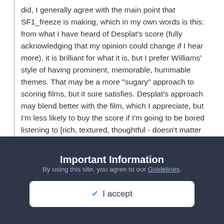did, I generally agree with the main point that SF1_freeze is making, which in my own words is this: from what I have heard of Desplat's score (fully acknowledging that my opinion could change if I hear more), it is brilliant for what it is, but I prefer Williams' style of having prominent, memorable, hummable themes. That may be a more "sugary" approach to scoring films, but it sure satisfies. Desplat's approach may blend better with the film, which I appreciate, but I'm less likely to buy the score if I'm going to be bored listening to [rich, textured, thoughtful - doesn't matter really] underscore. The score must be more engaging to warrant me forking out cash for it - and it must stand on its own without the film. I'm not saying I won't buy it - but in general that's my sentiment.
Now THAT is a comment I can get behind. Do I agree with it?
Important Information
By using this site, you agree to our Guidelines.
I accept